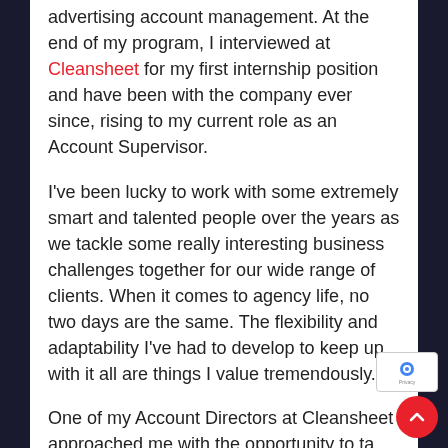advertising account management. At the end of my program, I interviewed at Cleansheet for my first internship position and have been with the company ever since, rising to my current role as an Account Supervisor.
I've been lucky to work with some extremely smart and talented people over the years as we tackle some really interesting business challenges together for our wide range of clients. When it comes to agency life, no two days are the same. The flexibility and adaptability I've had to develop to keep up with it all are things I value tremendously.
One of my Account Directors at Cleansheet approached me with the opportunity to take the Chartered Marketer program. She